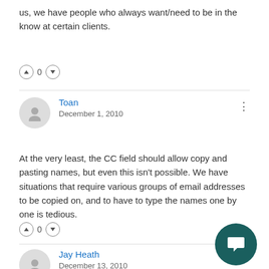us, we have people who always want/need to be in the know at certain clients.
[Figure (infographic): Vote up/down row with count 0]
Toan
December 1, 2010
At the very least, the CC field should allow copy and pasting names, but even this isn't possible.  We have situations that require various groups of email addresses to be copied on, and to have to type the names one by one is tedious.
[Figure (infographic): Vote up/down row with count 0]
Jay Heath
December 13, 2010